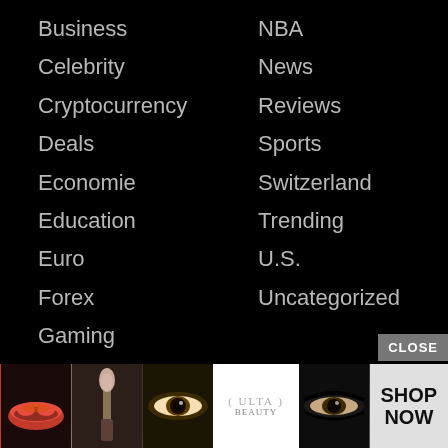Business
NBA
Celebrity
News
Cryptocurrency
Reviews
Deals
Sports
Economie
Switzerland
Education
Trending
Euro
U.S.
Forex
Uncategorized
Gaming
Pages
Contact US
Newsletter
Privacy
Terms
[Figure (photo): Advertisement banner showing beauty/makeup products with ULTA logo and SHOP NOW button]